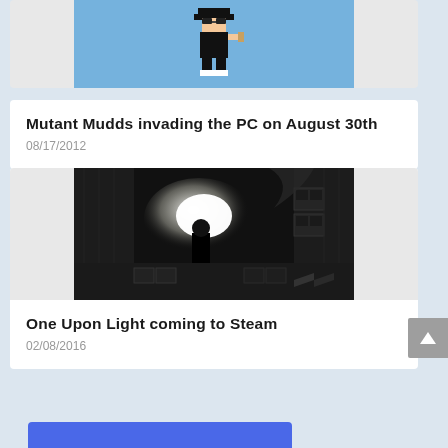[Figure (screenshot): Partial view of a card showing a pixel art character (game sprite) on a light blue background]
Mutant Mudds invading the PC on August 30th
08/17/2012
[Figure (screenshot): Black and white screenshot from One Upon Light game showing a dark room with a bright light source and silhouette of a character]
One Upon Light coming to Steam
02/08/2016